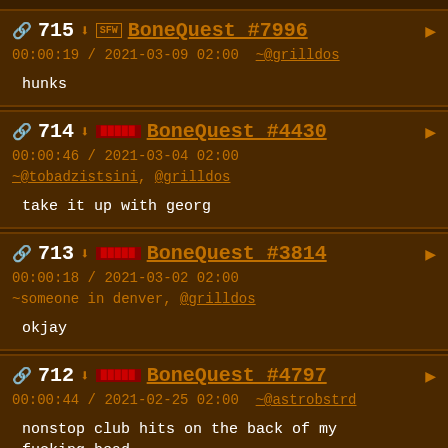715 BoneQuest #7996 00:00:19 / 2021-03-09 02:00 ~@grilldos hunks
714 [nsfw] BoneQuest #4430 00:00:46 / 2021-03-04 02:00 ~@tobadzistsini, @grilldos take it up with georg
713 [nsfw] BoneQuest #3814 00:00:18 / 2021-03-02 02:00 ~someone in denver, @grilldos okjay
712 [nsfw] BoneQuest #4797 00:00:44 / 2021-02-25 02:00 ~@astrobstrd nonstop club hits on the back of my fucking head